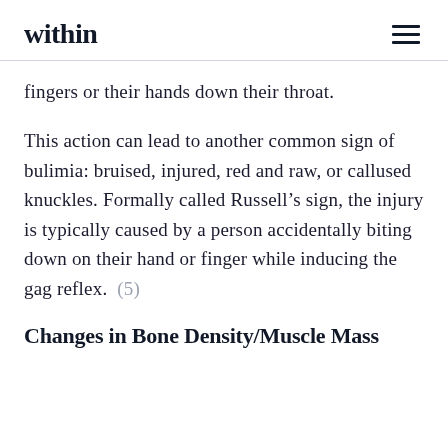within
fingers or their hands down their throat.
This action can lead to another common sign of bulimia: bruised, injured, red and raw, or callused knuckles. Formally called Russell’s sign, the injury is typically caused by a person accidentally biting down on their hand or finger while inducing the gag reflex. (5)
Changes in Bone Density/Muscle Mass